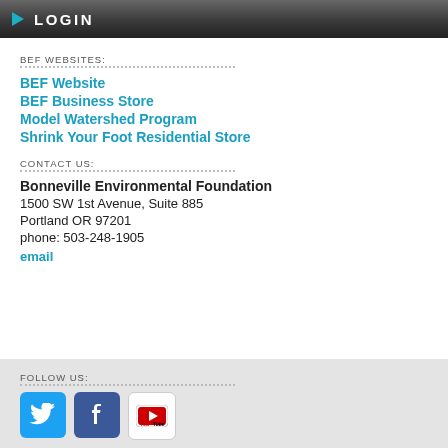LOGIN
BEF WEBSITES:
BEF Website
BEF Business Store
Model Watershed Program
Shrink Your Foot Residential Store
CONTACT US:
Bonneville Environmental Foundation
1500 SW 1st Avenue, Suite 885
Portland OR 97201
phone: 503-248-1905
email
FOLLOW US:
[Figure (logo): Twitter, Facebook, and YouTube social media icons]